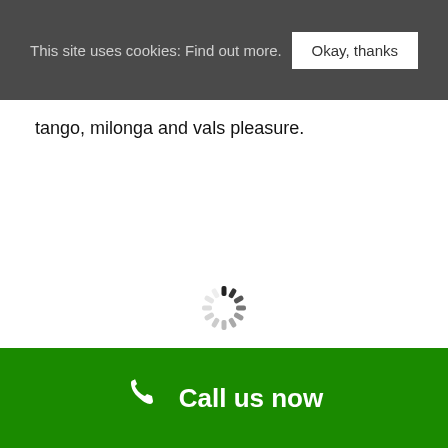This site uses cookies: Find out more.   Okay, thanks
tango, milonga and vals pleasure.
[Figure (other): Loading spinner animation indicator]
Call us now